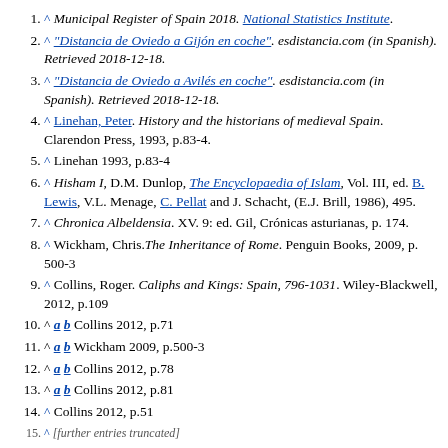^ Municipal Register of Spain 2018. National Statistics Institute.
^ "Distancia de Oviedo a Gijón en coche". esdistancia.com (in Spanish). Retrieved 2018-12-18.
^ "Distancia de Oviedo a Avilés en coche". esdistancia.com (in Spanish). Retrieved 2018-12-18.
^ Linehan, Peter. History and the historians of medieval Spain. Clarendon Press, 1993, p.83-4.
^ Linehan 1993, p.83-4
^ Hisham I, D.M. Dunlop, The Encyclopaedia of Islam, Vol. III, ed. B. Lewis, V.L. Menage, C. Pellat and J. Schacht, (E.J. Brill, 1986), 495.
^ Chronica Albeldensia. XV. 9: ed. Gil, Crónicas asturianas, p. 174.
^ Wickham, Chris. The Inheritance of Rome. Penguin Books, 2009, p. 500-3
^ Collins, Roger. Caliphs and Kings: Spain, 796-1031. Wiley-Blackwell, 2012, p.109
^ a b Collins 2012, p.71
^ a b Wickham 2009, p.500-3
^ a b Collins 2012, p.78
^ a b Collins 2012, p.81
^ Collins 2012, p.51
^ [truncated]